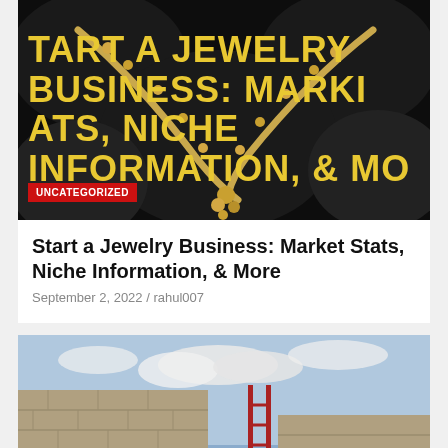[Figure (photo): Dark background with gold/yellow jewelry necklace crossing in an X pattern. Bold yellow text overlay reads 'START A JEWELRY BUSINESS: MARKET STATS, NICHE INFORMATION, & MORE'. Red 'UNCATEGORIZED' badge in lower left.]
Start a Jewelry Business: Market Stats, Niche Information, & More
September 2, 2022 / rahul007
[Figure (screenshot): A video game or rendered scene showing stone castle walls with arched openings, a red ladder leaning against the wall, cloudy sky, and silhouetted figures at the bottom. A red scroll-to-top button with an up arrow is in the lower right corner.]